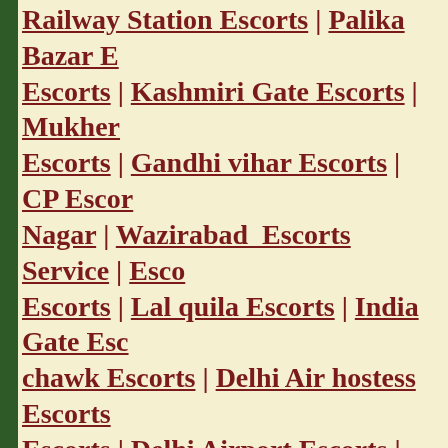Railway Station Escorts | Palika Bazar Escorts | Kashmiri Gate Escorts | Mukherji Escorts | Gandhi vihar Escorts | CP Escorts Nagar | Wazirabad Escorts Service | Escorts | Lal quila Escorts | India Gate Escorts chawk Escorts | Delhi Air hostess Escorts Escorts | Delhi Airport Escorts | Delhi IT Escorts |Chandigarh Escorts | Chandigarh Escorts Escorts | Chandigarh Escorts Service | Ch Delhi | Independent Delhi Escorts | Delhi Service | Delhi Call Girls | Female Delhi Delhi | Delhi Call Girl | Call Girl in Delhi Escorts
https://twitter.com/ManviKakkar10